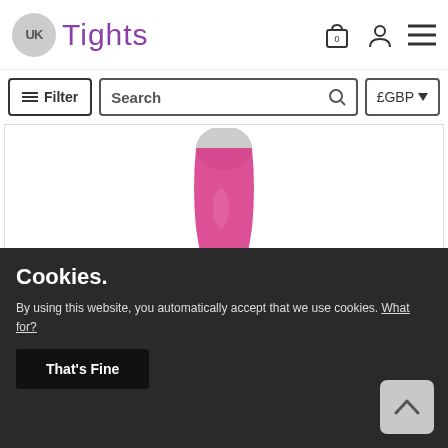UK Tights
≡ Filter | Search | £GBP
[Figure (photo): Product image of Jonathan Aston Sheer Coloured Tights showing a high-heeled shoe with pink/magenta sheer tights]
Jonathan Aston Sheer Coloured Tights
Cookies.
By using this website, you automatically accept that we use cookies. What for?
That's Fine